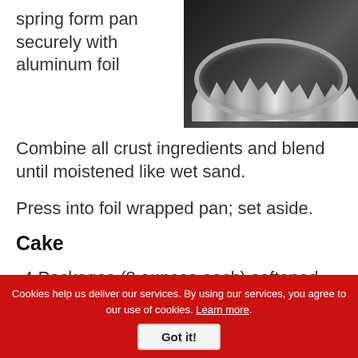spring form pan securely with aluminum foil
[Figure (photo): A springform pan wrapped securely with aluminum foil, viewed from above on a dark surface.]
Combine all crust ingredients and blend until moistened like wet sand.
Press into foil wrapped pan; set aside.
Cake
4 Packages (8 ounces each) softened cream cheese
5 Eggs (partially visible)
Cookies help us deliver our services. By using our services, you agree to our use of cookies. Learn more.
Got it!